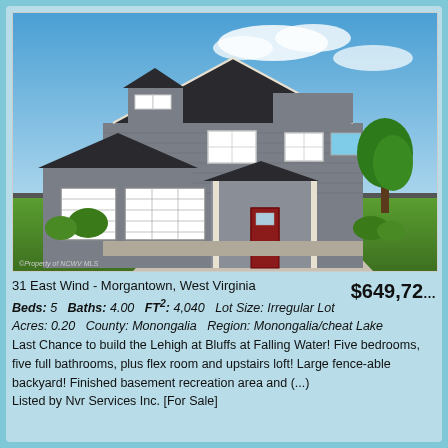[Figure (photo): Two-story suburban home with gray siding, three-car garage, covered front porch with dark red door, green lawn, blue sky with clouds.]
31 East Wind - Morgantown, West Virginia
$649,72
Beds: 5   Baths: 4.00   FT²: 4,040   Lot Size: Irregular Lot   Acres: 0.20   County: Monongalia   Region: Monongalia/cheat Lake
Last Chance to build the Lehigh at Bluffs at Falling Water! Five bedrooms, five full bathrooms, plus flex room and upstairs loft! Large fence-able backyard! Finished basement recreation area and (...)
Listed by Nvr Services Inc. [For Sale]